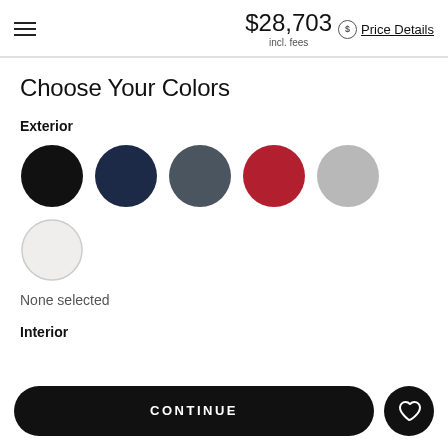$28,703 incl. fees | Price Details
Choose Your Colors
Exterior
[Figure (illustration): Six color swatches for exterior: black, navy, dark gray, red, silver, and white/light gray circles]
None selected
Interior
CONTINUE